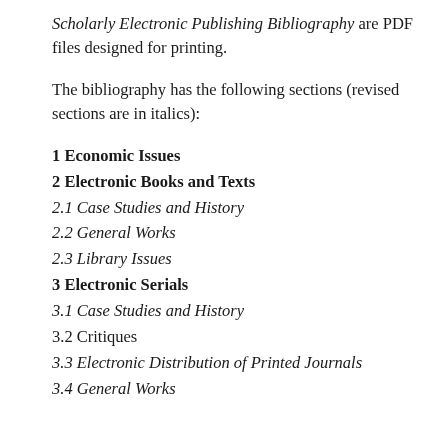Scholarly Electronic Publishing Bibliography are PDF files designed for printing.
The bibliography has the following sections (revised sections are in italics):
1 Economic Issues
2 Electronic Books and Texts
2.1 Case Studies and History
2.2 General Works
2.3 Library Issues
3 Electronic Serials
3.1 Case Studies and History
3.2 Critiques
3.3 Electronic Distribution of Printed Journals
3.4 General Works